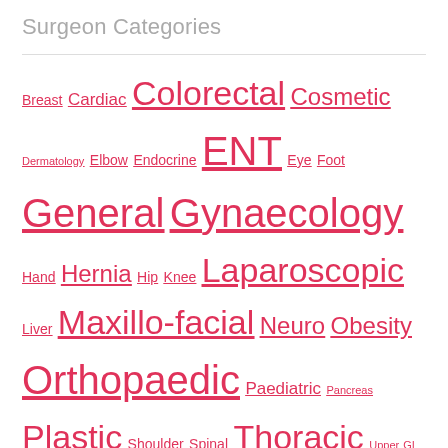Surgeon Categories
Breast Cardiac Colorectal Cosmetic Dermatology Elbow Endocrine ENT Eye Foot General Gynaecology Hand Hernia Hip Knee Laparoscopic Liver Maxillo-facial Neuro Obesity Orthopaedic Paediatric Pancreas Plastic Shoulder Spinal Thoracic Upper GI Urology Vascular
© 2019 A UK Surgeon Website - Websites by surgeons for patients